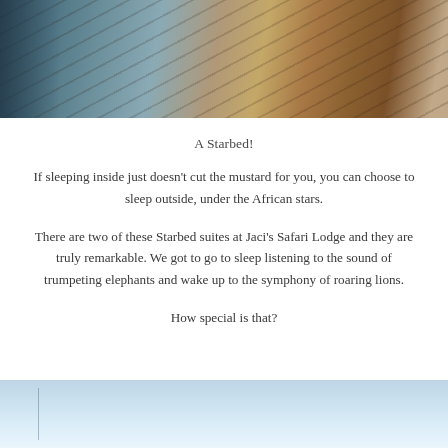[Figure (photo): Top portion of a wooden deck with warm sunlight and dappled shadows, partial view of a bed or structure with dark metal frame on the left]
A Starbed!
If sleeping inside just doesn't cut the mustard for you, you can choose to sleep outside, under the African stars.
There are two of these Starbed suites at Jaci's Safari Lodge and they are truly remarkable. We got to go to sleep listening to the sound of trumpeting elephants and wake up to the symphony of roaring lions.
How special is that?
[Figure (photo): Bottom portion showing a light blue sky with a thin vertical line element, partial view of an outdoor scene]